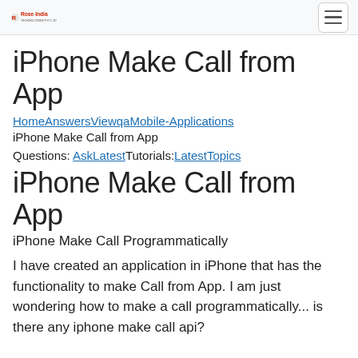Rose India [logo] [hamburger menu]
iPhone Make Call from App
HomeAnswersViewqaMobile-Applications
iPhone Make Call from App
Questions: AskLatestTutorials:LatestTopics
iPhone Make Call from App
iPhone Make Call Programmatically
I have created an application in iPhone that has the functionality to make Call from App. I am just wondering how to make a call programmatically... is there any iphone make call api?